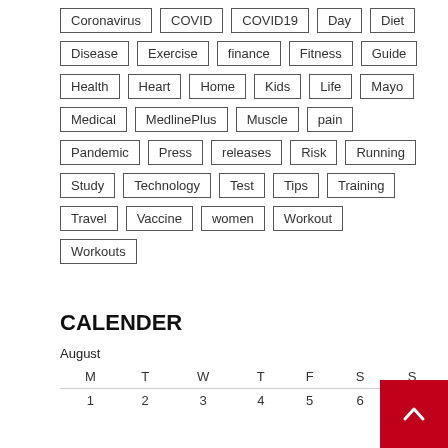Coronavirus
COVID
COVID19
Day
Diet
Disease
Exercise
finance
Fitness
Guide
Health
Heart
Home
Kids
Life
Mayo
Medical
MedlinePlus
Muscle
pain
Pandemic
Press
releases
Risk
Running
Study
Technology
Test
Tips
Training
Travel
Vaccine
women
Workout
Workouts
CALENDER
| M | T | W | T | F | S | S |
| --- | --- | --- | --- | --- | --- | --- |
| 1 | 2 | 3 | 4 | 5 | 6 | 7 |